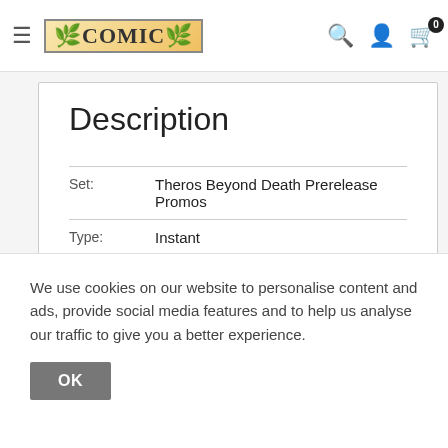≡  COMIC  🔍  👤  🛒 0
Description
| Field | Value |
| --- | --- |
| Set: | Theros Beyond Death Prerelease Promos |
| Type: | Instant |
| Rarity: | Rare |
| Cost: | {3}{B} |
We use cookies on our website to personalise content and ads, provide social media features and to help us analyse our traffic to give you a better experience.